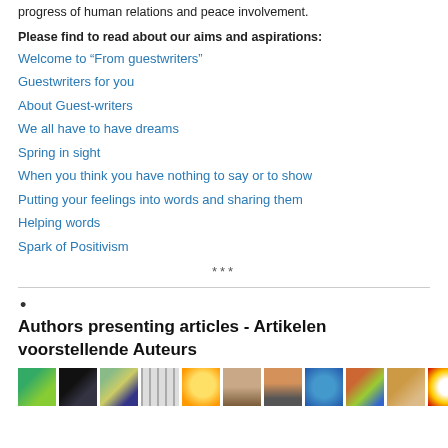progress of human relations and peace involvement.
Please find to read about our aims and aspirations:
Welcome to “From guestwriters”
Guestwriters for you
About Guest-writers
We all have to have dreams
Spring in sight
When you think you have nothing to say or to show
Putting your feelings into words and sharing them
Helping words
Spark of Positivism
***
•
Authors presenting articles - Artikelen voorstellende Auteurs
[Figure (photo): Row of author avatar/profile images, approximately 11 small thumbnail photos in a horizontal strip]